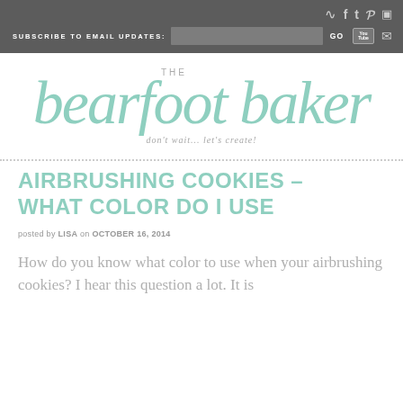SUBSCRIBE TO EMAIL UPDATES: GO
[Figure (logo): The Bearfoot Baker logo in mint/teal script with tagline 'don't wait... let's create!']
AIRBRUSHING COOKIES – WHAT COLOR DO I USE
posted by LISA on OCTOBER 16, 2014
How do you know what color to use when your airbrushing cookies? I hear this question a lot. It is